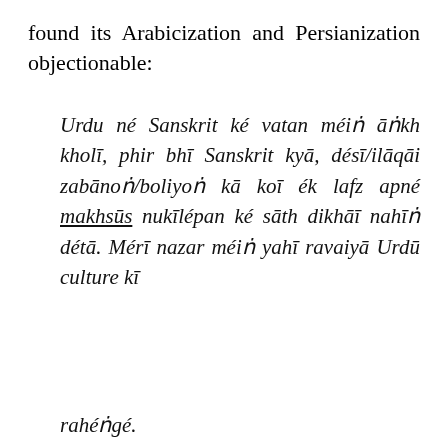found its Arabicization and Persianization objectionable:
Urdu né Sanskrit ké vatan méiṅ āṅkh kholī, phir bhī Sanskrit kyā, désī/ilāqāi zabānoṅ/boliyoṅ kā koī ék lafz apné makhsūs nukīlépan ké sāth dikhāī nahīṅ détā. Mérī nazar méiṅ yahī ravaiyā Urdū culture kī
[Figure (screenshot): Cookie consent banner with text about privacy & cookies policy and a red 'CLOSE AND ACCEPT' button]
rahéṅgé.